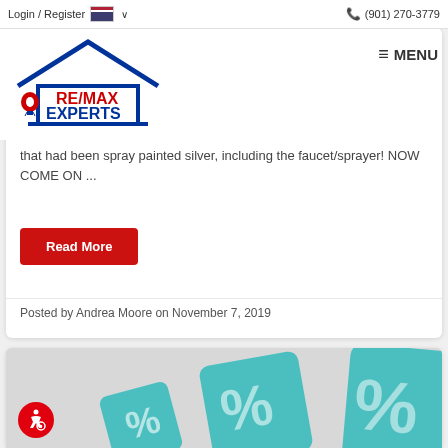Login / Register  🇺🇸 ∨  (901) 270-3779
[Figure (logo): RE/MAX Experts logo with house outline and hot air balloon]
≡ MENU
that had been spray painted silver, including the faucet/sprayer! NOW COME ON ...
Read More
Posted by Andrea Moore on November 7, 2019
[Figure (photo): Teal/turquoise dice with percentage signs on them]